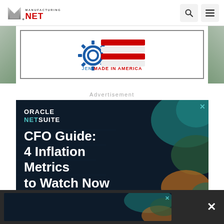[Figure (logo): Manufacturing.net logo in header navigation bar]
[Figure (screenshot): JEN Made in America advertisement banner with gear and USA flag stripes icon]
Advertisement
[Figure (screenshot): Oracle NetSuite advertisement: CFO Guide: 4 Inflation Metrics to Watch Now, on dark navy background with teal and green decorative shapes]
[Figure (screenshot): Bottom sticky bar Oracle NetSuite ad: CFO Guide: 4 Inflation Metrics to Watch Now with close X button]